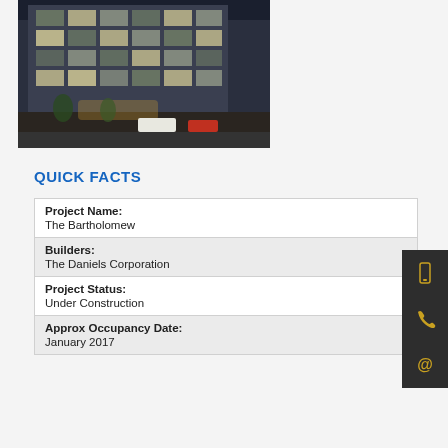[Figure (photo): Exterior night rendering of a modern multi-storey residential building with retail at street level, cars and pedestrians visible.]
QUICK FACTS
| Project Name: | The Bartholomew |
| Builders: | The Daniels Corporation |
| Project Status: | Under Construction |
| Approx Occupancy Date: | January 2017 |